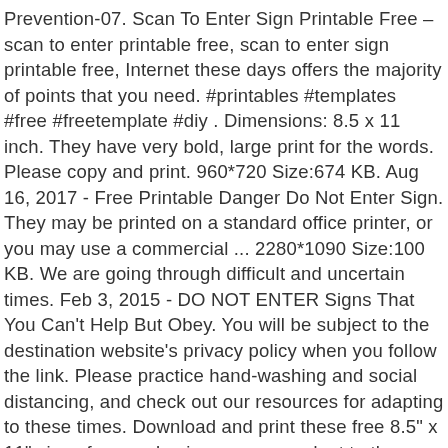Prevention-07. Scan To Enter Sign Printable Free – scan to enter printable free, scan to enter sign printable free, Internet these days offers the majority of points that you need. #printables #templates #free #freetemplate #diy . Dimensions: 8.5 x 11 inch. They have very bold, large print for the words. Please copy and print. 960*720 Size:674 KB. Aug 16, 2017 - Free Printable Danger Do Not Enter Sign. They may be printed on a standard office printer, or you may use a commercial ... 2280*1090 Size:100 KB. We are going through difficult and uncertain times. Feb 3, 2015 - DO NOT ENTER Signs That You Can't Help But Obey. You will be subject to the destination website's privacy policy when you follow the link. Please practice hand-washing and social distancing, and check out our resources for adapting to these times. Download and print these free 8.5" x 11" signs for your business as you adapt to the changing public health climate. Register Online Icon - Not Enter Sign Printable: License: Personal Use: Size: 164 KB: Views: 14: Downloads: 3: If you find any inappropriate image content on SeekPNG.com, please contact us, and we will take